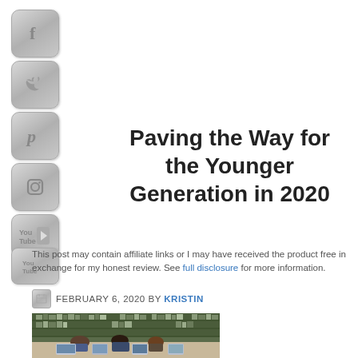[Figure (logo): Social media share buttons column: Facebook, Twitter, Pinterest, Instagram, YouTube]
Paving the Way for the Younger Generation in 2020
[Figure (logo): Share/social icon button (small, partially visible)]
This post may contain affiliate links or I may have received the product free in exchange for my honest review. See full disclosure for more information.
FEBRUARY 6, 2020 BY KRISTIN
[Figure (photo): Students sitting at tables in a library with laptops and tablets, bookshelves in background]